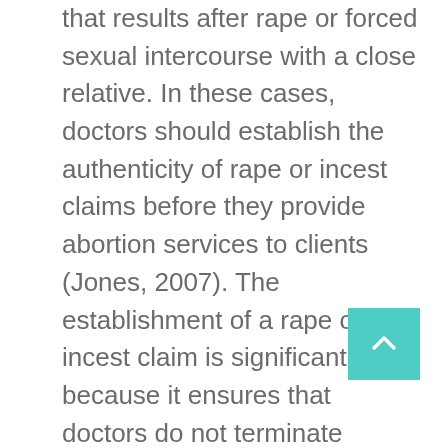that results after rape or forced sexual intercourse with a close relative. In these cases, doctors should establish the authenticity of rape or incest claims before they provide abortion services to clients (Jones, 2007). The establishment of a rape or incest claim is significant because it ensures that doctors do not terminate pregnancies that resulted from other usual sexual activities. Rape and incest are immoral acts that traumatize victims for a long time (Levy, 2013). In most cases, abortion is advisable in these cases because the resulting baby may become a stark reminder of the ordeal that a person underwent in the past. This remembrance may cause psychological or mental torture to the